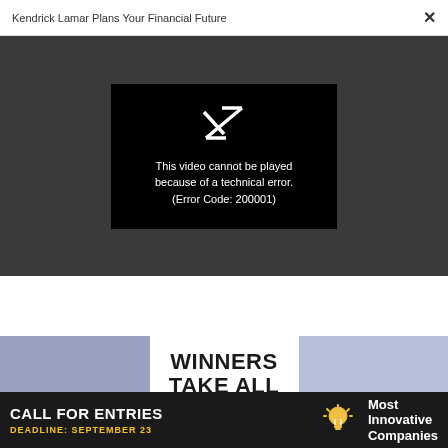Kendrick Lamar Plans Your Financial Future ×
[Figure (screenshot): Video player showing error: This video cannot be played because of a technical error. (Error Code: 200001)]
[Figure (illustration): Book cover with text WINNERS TAKE ALL on blue/lavender background]
[Figure (screenshot): Advertisement banner: CALL FOR ENTRIES, DEADLINE: SEPTEMBER 23, Most Innovative Companies, with lightbulb icon]